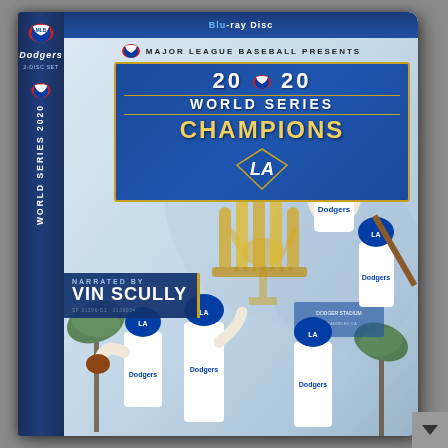[Figure (photo): Blu-ray Disc case for 2020 World Series Champions Los Angeles Dodgers, narrated by Vin Scully. Front cover shows multiple Dodgers players in action poses against a light blue watercolor background with World Series trophy imagery. The spine reads 'World Series 2020'. The case features a dark blue title block reading '2020 World Series Champions' with the LA Dodgers logo, and a narration credit box reading 'NARRATED BY VIN SCULLY'. Catalog numbers SF 21396-S1 / 2136034 appear below Vin Scully's name.]